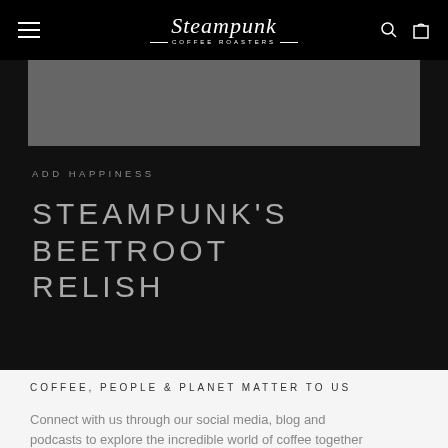Steampunk Coffee Roasters — navigation bar with logo
[Figure (photo): Dark grey rectangular hero image placeholder]
ADD HAPPINESS
STEAMPUNK'S BEETROOT RELISH
COFFEE, PEOPLE & PLANET MATTER TO US
Connect with us through our social media, blog and podcasts to explore the incredible world of coffee together